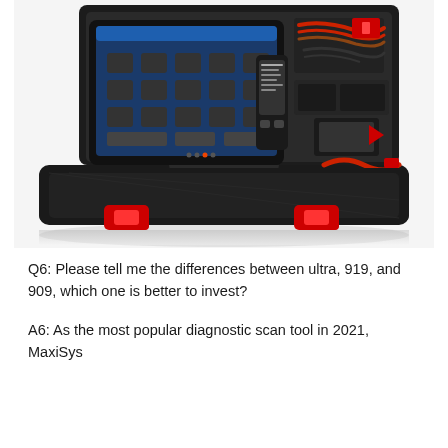[Figure (photo): Autel MaxiSys diagnostic scan tool kit in an open hard-shell carrying case. The case is black with red latches. Inside is a tablet-style diagnostic device with a large touchscreen showing diagnostic software icons, a secondary handheld device, various cables including red and black battery clamp cables, OBD connectors, USB cables, a power adapter, and accessories organized in foam cutouts and elastic straps.]
Q6: Please tell me the differences between ultra, 919, and 909, which one is better to invest?
A6: As the most popular diagnostic scan tool in 2021, MaxiSys